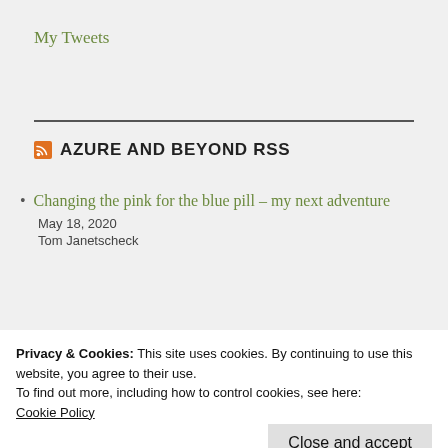My Tweets
AZURE AND BEYOND RSS
Changing the pink for the blue pill – my next adventure
May 18, 2020
Tom Janetscheck
Privacy & Cookies: This site uses cookies. By continuing to use this website, you agree to their use.
To find out more, including how to control cookies, see here:
Cookie Policy
RBAC in a modern DevOps world